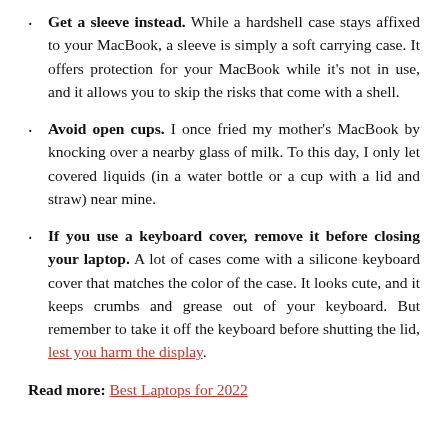Get a sleeve instead. While a hardshell case stays affixed to your MacBook, a sleeve is simply a soft carrying case. It offers protection for your MacBook while it's not in use, and it allows you to skip the risks that come with a shell.
Avoid open cups. I once fried my mother's MacBook by knocking over a nearby glass of milk. To this day, I only let covered liquids (in a water bottle or a cup with a lid and straw) near mine.
If you use a keyboard cover, remove it before closing your laptop. A lot of cases come with a silicone keyboard cover that matches the color of the case. It looks cute, and it keeps crumbs and grease out of your keyboard. But remember to take it off the keyboard before shutting the lid, lest you harm the display.
Read more: Best Laptops for 2022